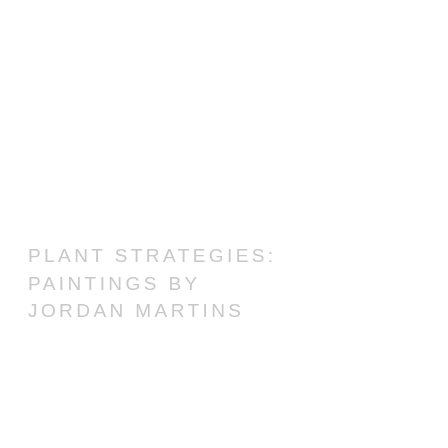PLANT STRATEGIES: PAINTINGS BY JORDAN MARTINS